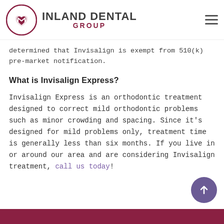[Figure (logo): Inland Dental Group logo with circular emblem containing a stylized tooth/heart shape in dark red, and text 'INLAND DENTAL GROUP' beside it]
determined that Invisalign is exempt from 510(k) pre-market notification.
What is Invisalign Express?
Invisalign Express is an orthodontic treatment designed to correct mild orthodontic problems such as minor crowding and spacing. Since it's designed for mild problems only, treatment time is generally less than six months. If you live in or around our area and are considering Invisalign treatment, call us today!